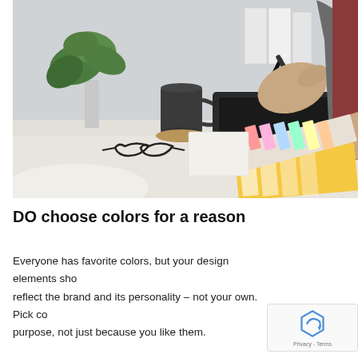[Figure (photo): A person using a stylus on a graphics drawing tablet on a desk, with color swatches/palette cards, a mug, glasses, plant, and binders in the background.]
DO choose colors for a reason
Everyone has favorite colors, but your design elements should reflect the brand and its personality – not your own. Pick colors for a purpose, not just because you like them.